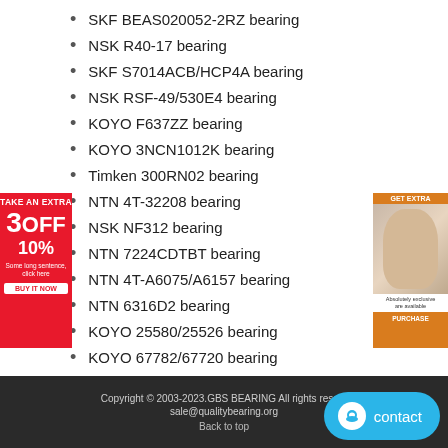SKF BEAS020052-2RZ bearing
NSK R40-17 bearing
SKF S7014ACB/HCP4A bearing
NSK RSF-49/530E4 bearing
KOYO F637ZZ bearing
KOYO 3NCN1012K bearing
Timken 300RN02 bearing
NTN 4T-32208 bearing
NSK NF312 bearing
NTN 7224CDTBT bearing
NTN 4T-A6075/A6157 bearing
NTN 6316D2 bearing
KOYO 25580/25526 bearing
KOYO 67782/67720 bearing
KOYO 7901CPA bearing
INA 712148410 bearing
KOYO NJ205R bearing
Copyright © 2003-2023.GBS BEARING All rights reserved. sale@qualitybearing.org Back to top